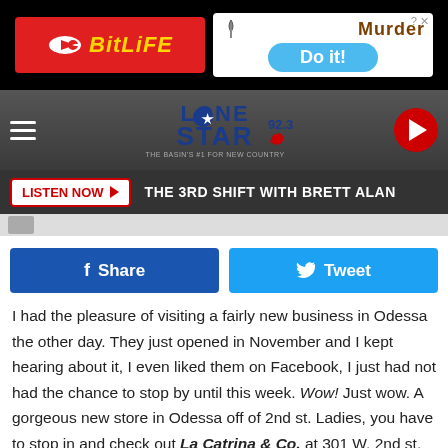[Figure (screenshot): Advertisement banner: BitLife app ad on the left (red background, yellow logo), Murder 'Do it!' game ad on the right (white background with blue button)]
[Figure (logo): Lone Star 92.3 radio station logo with Texas map icon, 'The Basin's #1 For New Country' tagline, hamburger menu on left, play button on right]
[Figure (infographic): Listen Now button bar with dark background and text 'THE 3RD SHIFT WITH BRETT ALAN']
[Figure (infographic): Social media share buttons: Facebook Share and Twitter Tweet]
I had the pleasure of visiting a fairly new business in Odessa the other day. They just opened in November and I kept hearing about it, I even liked them on Facebook, I just had not had the chance to stop by until this week. Wow! Just wow. A gorgeous new store in Odessa off of 2nd st. Ladies, you have to stop in and check out La Catrina & Co. at 301 W. 2nd st.
The moment I walked in, the bling caught my eye.